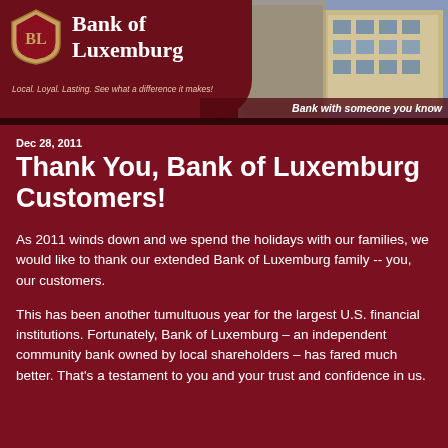[Figure (logo): Bank of Luxemburg logo banner with shield emblem, bank name, tagline, and building photo with 'Bank with someone you know' slogan]
Dec 28, 2011
Thank You, Bank of Luxemburg Customers!
As 2011 winds down and we spend the holidays with our families, we would like to thank our extended Bank of Luxemburg family -- you, our customers.
This has been another tumultuous year for the largest U.S. financial institutions. Fortunately, Bank of Luxemburg – an independent community bank owned by local shareholders – has fared much better. That's a testament to you and your trust and confidence in us.